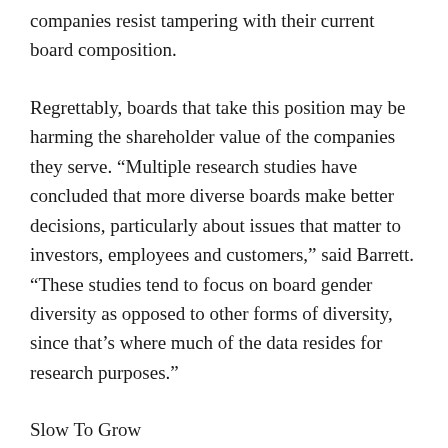companies resist tampering with their current board composition.
Regrettably, boards that take this position may be harming the shareholder value of the companies they serve. “Multiple research studies have concluded that more diverse boards make better decisions, particularly about issues that matter to investors, employees and customers,” said Barrett. “These studies tend to focus on board gender diversity as opposed to other forms of diversity, since that’s where much of the data resides for research purposes.”
Slow To Grow
At present, the US Securities and Exchange Commission does not require companies to